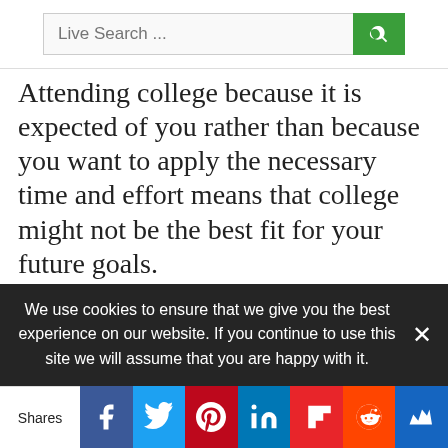[Figure (screenshot): Search bar with placeholder 'Live Search ...' and green search button]
Attending college because it is expected of you rather than because you want to apply the necessary time and effort means that college might not be the best fit for your future goals.
Before deciding if you want to join the ranks of Steve Jobs, Rachel Ray, and Michael Dell as a non-degree holder, consider your options and do
We use cookies to ensure that we give you the best experience on our website. If you continue to use this site we will assume that you are happy with it.
[Figure (infographic): Social share bar with Facebook, Twitter, Pinterest, LinkedIn, Flipboard, Reddit, and one more share button icons]